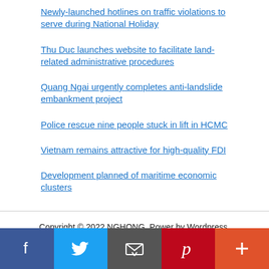Newly-launched hotlines on traffic violations to serve during National Holiday
Thu Duc launches website to facilitate land-related administrative procedures
Quang Ngai urgently completes anti-landslide embankment project
Police rescue nine people stuck in lift in HCMC
Vietnam remains attractive for high-quality FDI
Development planned of maritime economic clusters
Copyright © 2022 NGHONG. Power by Wordpress. Home - About Us - Contact Us - Disclaimers - DMCA - Privacy